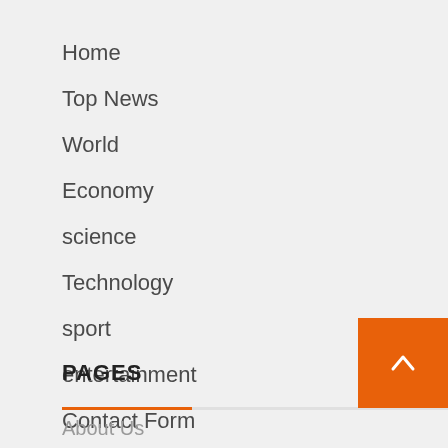Home
Top News
World
Economy
science
Technology
sport
entertainment
Contact Form
PAGES
About Us